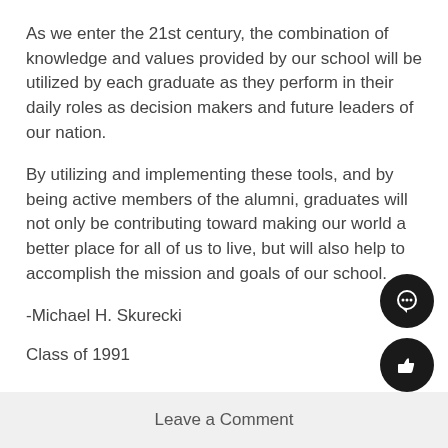As we enter the 21st century, the combination of knowledge and values provided by our school will be utilized by each graduate as they perform in their daily roles as decision makers and future leaders of our nation.
By utilizing and implementing these tools, and by being active members of the alumni, graduates will not only be contributing toward making our world a better place for all of us to live, but will also help to accomplish the mission and goals of our school.
-Michael H. Skurecki
Class of 1991
Leave a Comment